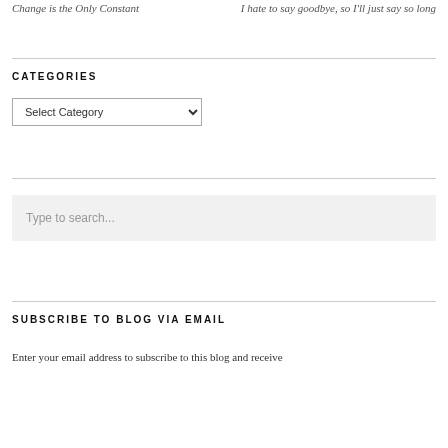Change is the Only Constant
I hate to say goodbye, so I'll just say so long
CATEGORIES
[Figure (other): Select Category dropdown widget]
[Figure (other): Type to search... search input box]
SUBSCRIBE TO BLOG VIA EMAIL
Enter your email address to subscribe to this blog and receive